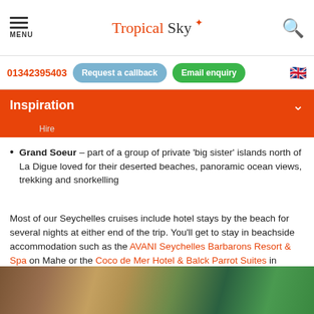MENU | Tropical Sky | Search
01342395403 | Request a callback | Email enquiry
Inspiration
Hire
Grand Soeur – part of a group of private 'big sister' islands north of La Digue loved for their deserted beaches, panoramic ocean views, trekking and snorkelling
Most of our Seychelles cruises include hotel stays by the beach for several nights at either end of the trip. You'll get to stay in beachside accommodation such as the AVANI Seychelles Barbarons Resort & Spa on Mahe or the Coco de Mer Hotel & Balck Parrot Suites in Praslin.
[Figure (photo): Photo of a beachside resort with wooden roof structure and tropical palm trees]